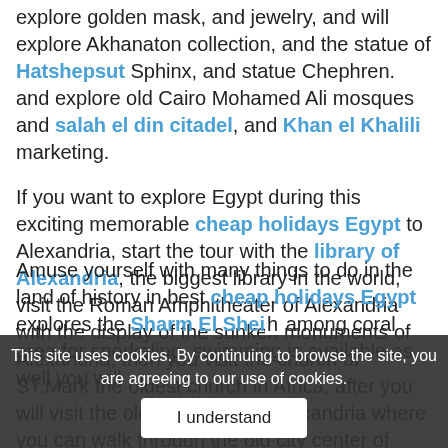explore golden mask, and jewelry, and will explore Akhanaton collection, and the statue of Hatshepsut Sphinx, and statue Chephren. and explore old Cairo Mohamed Ali mosques and salah el din citadel, and Khan el Khalili marketing.
If you want to explore Egypt during this exciting memorable cheap holidays Egypt to Alexandria, start the tour with the library of Alexandria, the biggest library in the world, visit the Roman Amphitheater of Alexandria with the display of the sunken monuments of Alexandria, then you visit the church of ST.Mark the oldest church in Africa, after you will visit the old downtown of Alexandria where you can walk through the old city center of Alexandria, look at the traditional markets, you will visit Qaitbay castle and, Montazah palace you can watch many flowers in the garden.
Amuse yourself with many things to do in the land of history in best cheap holidays Egypt explores the Sharm El Shei... among coral area for snorkeling, swimming is available as well you will
This site uses cookies. By continuing to browse the site, you are agreeing to our use of cookies.